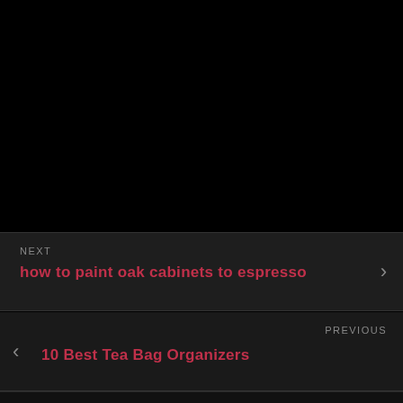[Figure (screenshot): Black background area at top of page]
NEXT
how to paint oak cabinets to espresso
PREVIOUS
10 Best Tea Bag Organizers